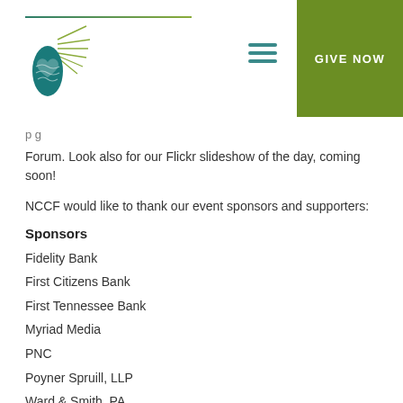NCCF website header with logo and GIVE NOW button
Forum. Look also for our Flickr slideshow of the day, coming soon!
NCCF would like to thank our event sponsors and supporters:
Sponsors
Fidelity Bank
First Citizens Bank
First Tennessee Bank
Myriad Media
PNC
Poyner Spruill, LLP
Ward & Smith, PA
Wells Fargo Bank
Supporters
Accent Imaging/Lenovo